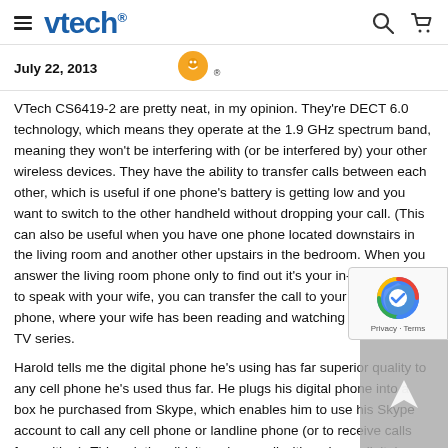vtech
July 22, 2013
VTech CS6419-2 are pretty neat, in my opinion. They're DECT 6.0 technology, which means they operate at the 1.9 GHz spectrum band, meaning they won't be interfering with (or be interfered by) your other wireless devices. They have the ability to transfer calls between each other, which is useful if one phone's battery is getting low and you want to switch to the other handheld without dropping your call. (This can also be useful when you have one phone located downstairs in the living room and another other upstairs in the bedroom. When you answer the living room phone only to find out it's your in-laws asking to speak with your wife, you can transfer the call to your bedroom phone, where your wife has been reading and watching her favorite TV series.
Harold tells me the digital phone he's using has far superior quality to any cell phone he's used thus far. He plugs his digital phone into a box he purchased from Skype, which enables him to use his Skype account to call any cell phone or landline phone (or to receive calls from either). This solution didn't work so well with a cheap digital phone he had, though, so he recommends buying